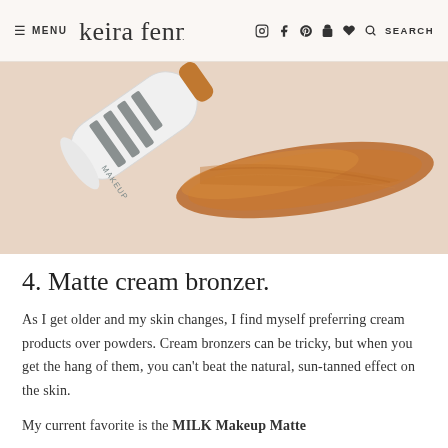≡ MENU  keira fennox  [icons] SEARCH
[Figure (photo): A white Milk Makeup stick bronzer product lying on its side with a bronze/copper cream swatch smeared on a light pink/nude background]
4. Matte cream bronzer.
As I get older and my skin changes, I find myself preferring cream products over powders. Cream bronzers can be tricky, but when you get the hang of them, you can't beat the natural, sun-tanned effect on the skin.
My current favorite is the MILK Makeup Matte